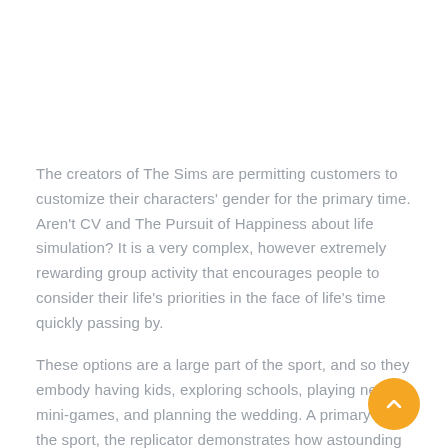The creators of The Sims are permitting customers to customize their characters' gender for the primary time. Aren't CV and The Pursuit of Happiness about life simulation? It is a very complex, however extremely rewarding group activity that encourages people to consider their life's priorities in the face of life's time quickly passing by.
These options are a large part of the sport, and so they embody having kids, exploring schools, playing new mini-games, and planning the wedding. A primary for the sport, the replicator demonstrates how astounding